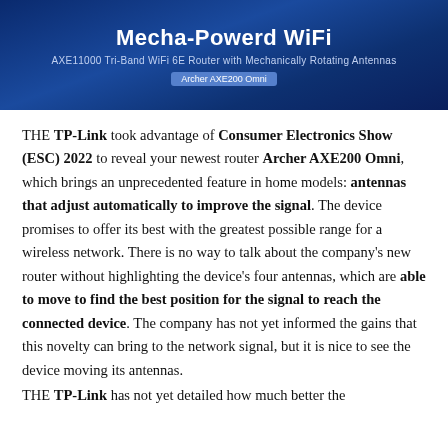[Figure (other): Dark blue gradient banner header reading 'Mecha-Powerd WiFi' with subtitle 'AXE11000 Tri-Band WiFi 6E Router with Mechanically Rotating Antennas' and a badge reading 'Archer AXE200 Omni']
THE TP-Link took advantage of Consumer Electronics Show (ESC) 2022 to reveal your newest router Archer AXE200 Omni, which brings an unprecedented feature in home models: antennas that adjust automatically to improve the signal. The device promises to offer its best with the greatest possible range for a wireless network. There is no way to talk about the company's new router without highlighting the device's four antennas, which are able to move to find the best position for the signal to reach the connected device. The company has not yet informed the gains that this novelty can bring to the network signal, but it is nice to see the device moving its antennas.
THE TP-Link has not yet detailed how much better the